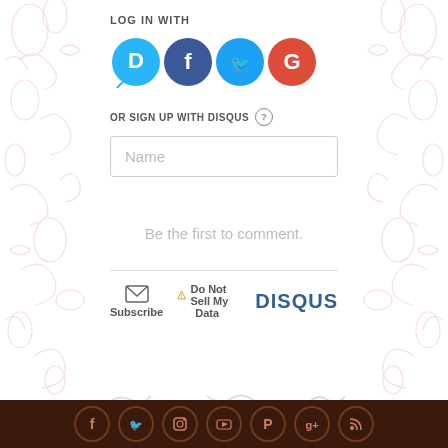LOG IN WITH
[Figure (infographic): Four social login icons: Disqus (blue circle with D), Facebook (dark blue circle with f), Twitter (light blue circle with bird), Google (red circle with G)]
OR SIGN UP WITH DISQUS ?
[Figure (screenshot): Name input field placeholder]
Be the first to comment.
Subscribe
Do Not Sell My Data
DISQUS
[Figure (infographic): Footer bar with social media icons: Facebook, Twitter, Instagram, YouTube, Pinterest, Google+, RSS]